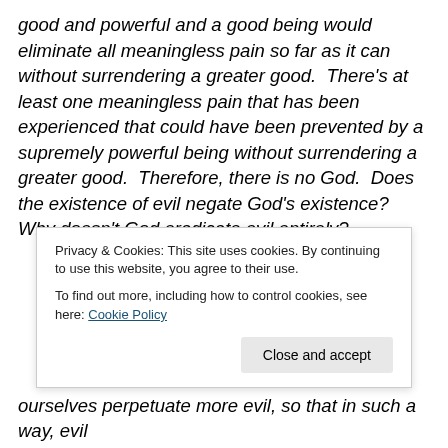good and powerful and a good being would eliminate all meaningless pain so far as it can without surrendering a greater good.  There's at least one meaningless pain that has been experienced that could have been prevented by a supremely powerful being without surrendering a greater good.  Therefore, there is no God.  Does the existence of evil negate God's existence? Why doesn't God eradicate evil entirely?
[Figure (screenshot): Cookie consent overlay banner with text about privacy and cookies policy, and a 'Close and accept' button.]
ourselves perpetuate more evil, so that in such a way, evil